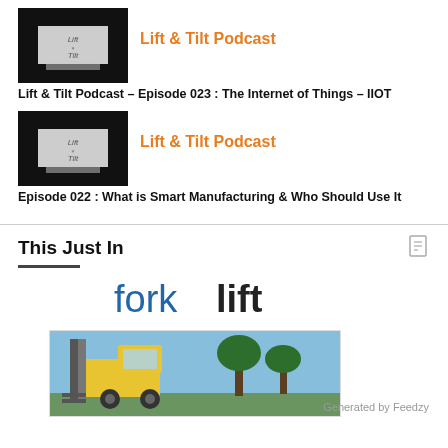[Figure (photo): Lift & Tilt Podcast thumbnail image - dark background with logo text]
Lift & Tilt Podcast
Lift & Tilt Podcast – Episode 023 : The Internet of Things – IIOT
[Figure (photo): Lift & Tilt Podcast thumbnail image - dark background with logo text]
Lift & Tilt Podcast
Episode 022 : What is Smart Manufacturing & Who Should Use It
This Just In
[Figure (logo): forklift logo in blue/dark text]
[Figure (photo): Yellow forklift outdoors with trees and blue sky in background]
Generated by Feedzy